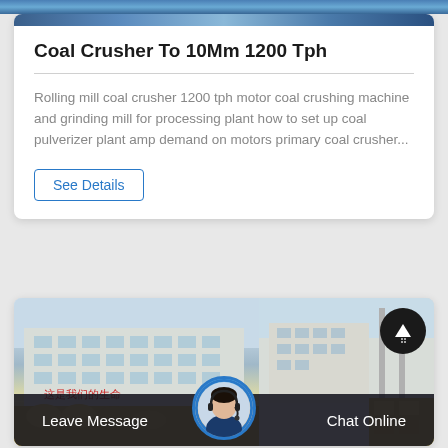[Figure (photo): Industrial/mining scene photo strip at top of card]
Coal Crusher To 10Mm 1200 Tph
Rolling mill coal crusher 1200 tph motor coal crushing machine and grinding mill for processing plant how to set up coal pulverizer plant amp demand on motors primary coal crusher...
See Details
[Figure (photo): Photo of industrial building/factory in China with Chinese characters on the facade, machinery and equipment in foreground. Chat bar overlay at bottom with Leave Message and Chat Online buttons and customer service avatar.]